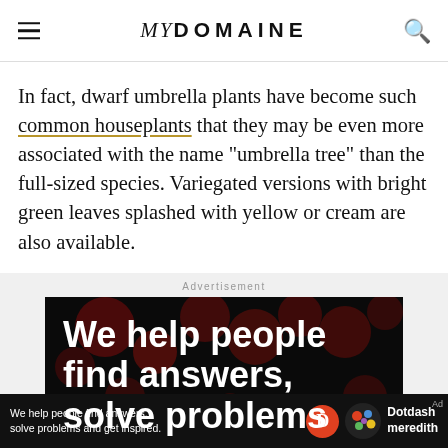MYDOMAINE
In fact, dwarf umbrella plants have become such common houseplants that they may be even more associated with the name "umbrella tree" than the full-sized species. Variegated versions with bright green leaves splashed with yellow or cream are also available.
Advertisement
[Figure (other): Advertisement banner image with dark background and red bokeh dots, showing large white bold text: 'We help people find answers, solve problems']